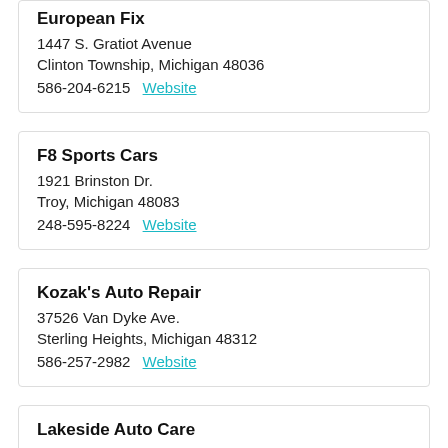European Fix
1447 S. Gratiot Avenue
Clinton Township, Michigan 48036
586-204-6215   Website
F8 Sports Cars
1921 Brinston Dr.
Troy, Michigan 48083
248-595-8224   Website
Kozak's Auto Repair
37526 Van Dyke Ave.
Sterling Heights, Michigan 48312
586-257-2982   Website
Lakeside Auto Care